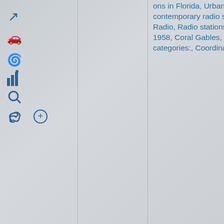[Figure (infographic): Wikipedia-style sidebar with navigation icons: redirect arrow, car icon, spiral/atom icon, bar chart icon, magnify icon, chain/link icon, and a circled plus button]
ons in Florida, Urban adult contemporary radio stations, Cox Radio, Radio stations established in 1958, Coral Gables, Florida, Hidden categories:, Coordinates on Wikidata,